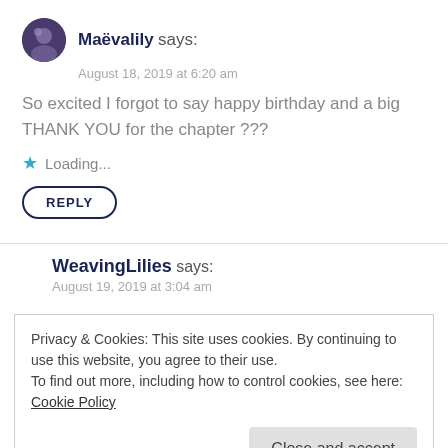Maëvalily says:
August 18, 2019 at 6:20 am
So excited I forgot to say happy birthday and a big THANK YOU for the chapter ???
Loading...
REPLY
WeavingLilies says:
August 19, 2019 at 3:04 am
Privacy & Cookies: This site uses cookies. By continuing to use this website, you agree to their use. To find out more, including how to control cookies, see here: Cookie Policy
Close and accept
REPLY